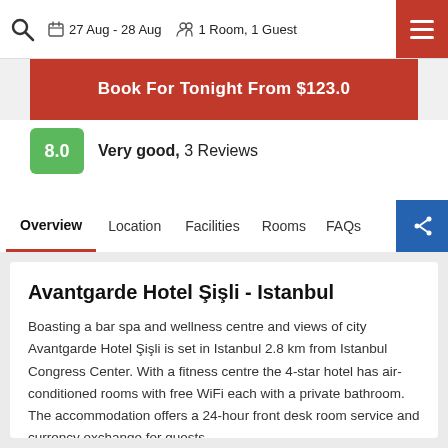27 Aug - 28 Aug  1 Room, 1 Guest
Book For Tonight From $123.0
8.0  Very good,  3 Reviews
Overview  Location  Facilities  Rooms  FAQs
Avantgarde Hotel Şişli - Istanbul
Boasting a bar spa and wellness centre and views of city Avantgarde Hotel Şişli is set in Istanbul 2.8 km from Istanbul Congress Center. With a fitness centre the 4-star hotel has air-conditioned rooms with free WiFi each with a private bathroom. The accommodation offers a 24-hour front desk room service and currency exchange for guests.